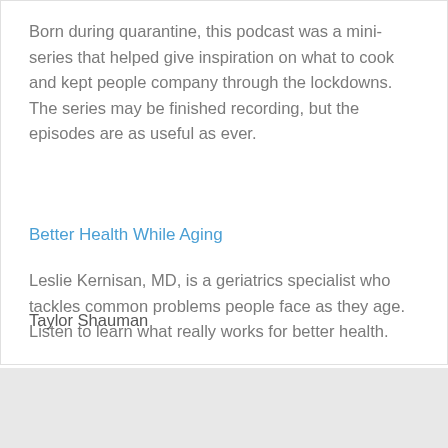Born during quarantine, this podcast was a mini-series that helped give inspiration on what to cook and kept people company through the lockdowns. The series may be finished recording, but the episodes are as useful as ever.
Better Health While Aging
Leslie Kernisan, MD, is a geriatrics specialist who tackles common problems people face as they age. Listen to learn what really works for better health.
Taylor Shauman
Post a comment